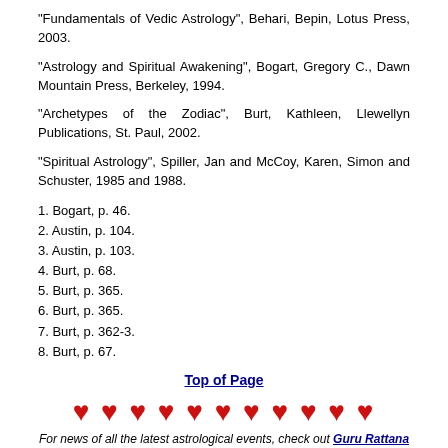"Fundamentals of Vedic Astrology", Behari, Bepin, Lotus Press, 2003.
"Astrology and Spiritual Awakening", Bogart, Gregory C., Dawn Mountain Press, Berkeley, 1994.
"Archetypes of the Zodiac", Burt, Kathleen, Llewellyn Publications, St. Paul, 2002.
"Spiritual Astrology", Spiller, Jan and McCoy, Karen, Simon and Schuster, 1985 and 1988.
1. Bogart, p. 46.
2. Austin, p. 104.
3. Austin, p. 103.
4. Burt, p. 68.
5. Burt, p. 365.
6. Burt, p. 365.
7. Burt, p. 362-3.
8. Burt, p. 67.
Top of Page
[Figure (illustration): Row of 11 red heart symbols used as decorative divider]
For news of all the latest astrological events, check out Guru Rattana Blog